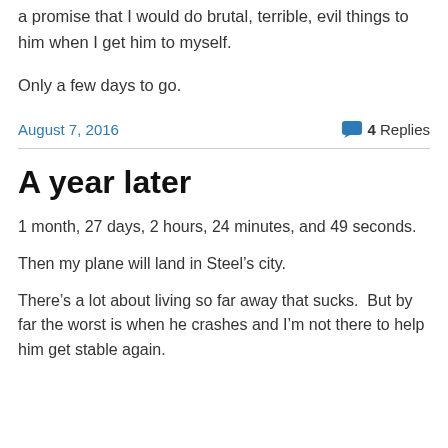a promise that I would do brutal, terrible, evil things to him when I get him to myself.
Only a few days to go.
August 7, 2016
4 Replies
A year later
1 month, 27 days, 2 hours, 24 minutes, and 49 seconds.
Then my plane will land in Steel’s city.
There’s a lot about living so far away that sucks.  But by far the worst is when he crashes and I’m not there to help him get stable again.